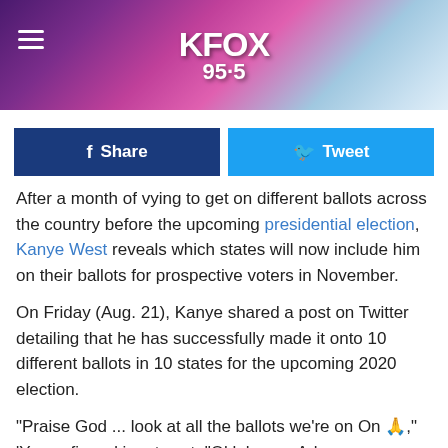[Figure (screenshot): KFOX 95.5 radio station header banner with purple/pink/blue geometric background and logo]
Share
Tweet
After a month of vying to get on different ballots across the country before the upcoming presidential election, Kanye West reveals which states will now include him on their ballots for prospective voters in November.
On Friday (Aug. 21), Kanye shared a post on Twitter detailing that he has successfully made it onto 10 different ballots in 10 states for the upcoming 2020 election.
"Praise God ... look at all the ballots we're on On 🙏," 'Ye confirmed in a tweet. "Oklahoma, Arkansas, Vermont, West Virginia, Colorado, Iowa, Utah, Minnesota, Tennessee,